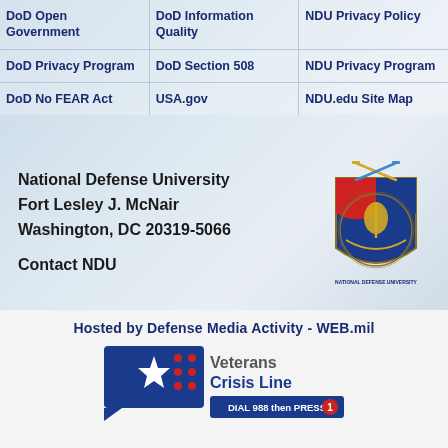| DoD Open Government | DoD Information Quality | NDU Privacy Policy |
| DoD Privacy Program | DoD Section 508 | NDU Privacy Program |
| DoD No FEAR Act | USA.gov | NDU.edu Site Map |
National Defense University
Fort Lesley J. McNair
Washington, DC 20319-5066

Contact NDU
[Figure (logo): National Defense University seal/crest with shield, swords, and torch]
Hosted by Defense Media Activity - WEB.mil
[Figure (logo): Veterans Crisis Line banner - DIAL 988 then PRESS 1]